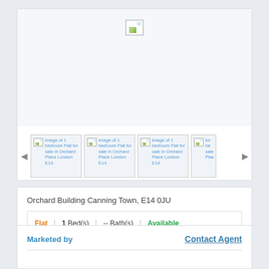[Figure (photo): Broken/loading image placeholder shown as main property photo for a 1 bedroom Flat for sale in Orchard Place London E14]
[Figure (photo): Thumbnail strip with 4 images: Image of 1 bedroom Flat for sale in Orchard Place London E14 (repeated 4 times, last partially visible)]
Orchard Building Canning Town, E14 0JU
Flat | 1 Bed(s) | -- Bath(s) | Available
Marketed by
Contact Agent